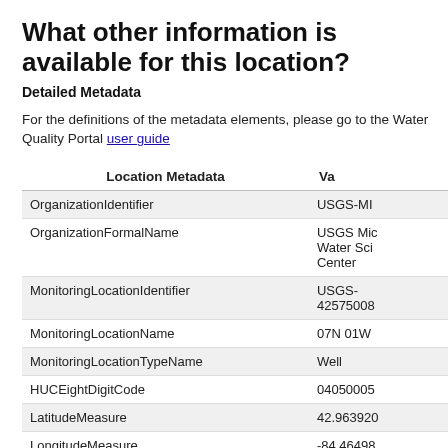What other information is available for this location?
Detailed Metadata
For the definitions of the metadata elements, please go to the Water Quality Portal user guide
| Location Metadata | Va |
| --- | --- |
| OrganizationIdentifier | USGS-MI |
| OrganizationFormalName | USGS Mic Water Sci Center |
| MonitoringLocationIdentifier | USGS-42575008 |
| MonitoringLocationName | 07N 01W |
| MonitoringLocationTypeName | Well |
| HUCEightDigitCode | 04050005 |
| LatitudeMeasure | 42.963920 |
| LongitudeMeasure | -84.46498 |
| HorizontalAccuracyMeasure/MeasureValue | 5 |
| HorizontalAccuracyMeasure/MeasureUnitCode |  |